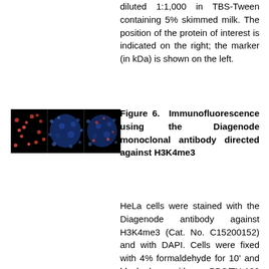diluted 1:1,000 in TBS-Tween containing 5% skimmed milk. The position of the protein of interest is indicated on the right; the marker (in kDa) is shown on the left.
[Figure (photo): Three immunofluorescence microscopy panels on black background: left panel shows red punctate dots (H3K4me3 signal), middle panel shows blue diffuse nuclear staining (DAPI), right panel shows merged/overlay image with blue and sparse red dots.]
Figure 6. Immunofluorescence using the Diagenode monoclonal antibody directed against H3K4me3
HeLa cells were stained with the Diagenode antibody against H3K4me3 (Cat. No. C15200152) and with DAPI. Cells were fixed with 4% formaldehyde for 10' and blocked with PBS/TX-100 containing 5% normal goat serum and 1% BSA. The cells were immunofluorescently labelled with